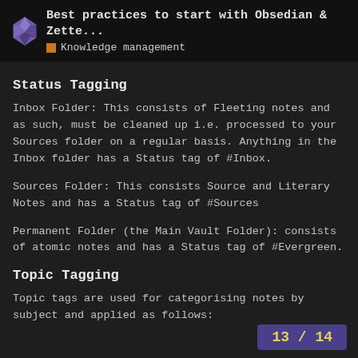Best practices to start with Obsedian & Zette... | Knowledge management
Status Tagging
Inbox Folder: This consists of Fleeting notes and as such, must be cleaned up i.e. processed to your Sources folder on a regular basis. Anything in the Inbox folder has a Status tag of #Inbox.
Sources Folder: This consists Source and Literary Notes and has a Status tag of #Sources
Permanent Folder (the Main Vault Folder): consists of atomic notes and has a Status tag of #Evergreen.
Topic Tagging
Topic tags are used for categorising notes by subject and applied as follows:
13 / 14